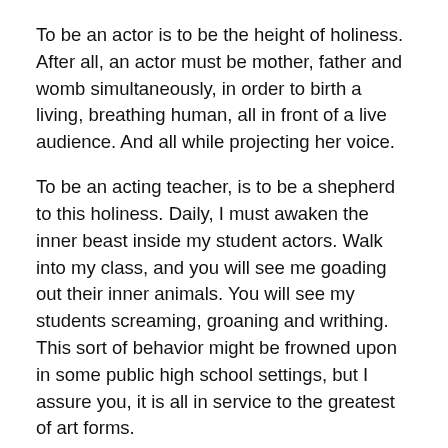To be an actor is to be the height of holiness. After all, an actor must be mother, father and womb simultaneously, in order to birth a living, breathing human, all in front of a live audience. And all while projecting her voice.
To be an acting teacher, is to be a shepherd to this holiness. Daily, I must awaken the inner beast inside my student actors. Walk into my class, and you will see me goading out their inner animals. You will see my students screaming, groaning and writhing. This sort of behavior might be frowned upon in some public high school settings, but I assure you, it is all in service to the greatest of art forms.
Today in class, however, I was all business.
“As tedious as the task may be, it is essential that you all turn in your permission slips on time.”